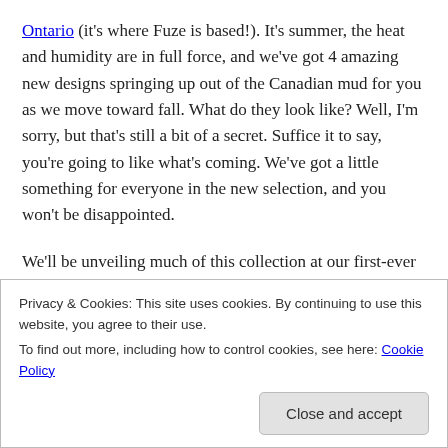Ontario (it's where Fuze is based!). It's summer, the heat and humidity are in full force, and we've got 4 amazing new designs springing up out of the Canadian mud for you as we move toward fall. What do they look like? Well, I'm sorry, but that's still a bit of a secret. Suffice it to say, you're going to like what's coming. We've got a little something for everyone in the new selection, and you won't be disappointed.
We'll be unveiling much of this collection at our first-ever trade show! Yes, that's right, Fuze has gotten this bloody
Privacy & Cookies: This site uses cookies. By continuing to use this website, you agree to their use.
To find out more, including how to control cookies, see here: Cookie Policy